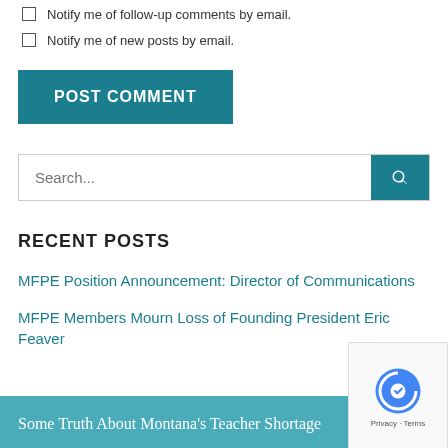Notify me of follow-up comments by email.
Notify me of new posts by email.
POST COMMENT
Search...
RECENT POSTS
MFPE Position Announcement: Director of Communications
MFPE Members Mourn Loss of Founding President Eric Feaver
Some Truth About Montana's Teacher Shortage